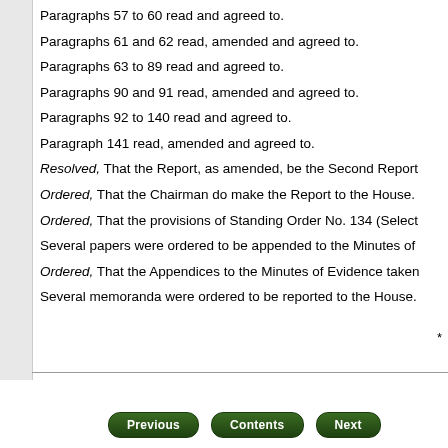Paragraphs 57 to 60 read and agreed to.
Paragraphs 61 and 62 read, amended and agreed to.
Paragraphs 63 to 89 read and agreed to.
Paragraphs 90 and 91 read, amended and agreed to.
Paragraphs 92 to 140 read and agreed to.
Paragraph 141 read, amended and agreed to.
Resolved, That the Report, as amended, be the Second Report
Ordered, That the Chairman do make the Report to the House.
Ordered, That the provisions of Standing Order No. 134 (Select
Several papers were ordered to be appended to the Minutes of
Ordered, That the Appendices to the Minutes of Evidence taken
Several memoranda were ordered to be reported to the House.
Previous   Contents   Next